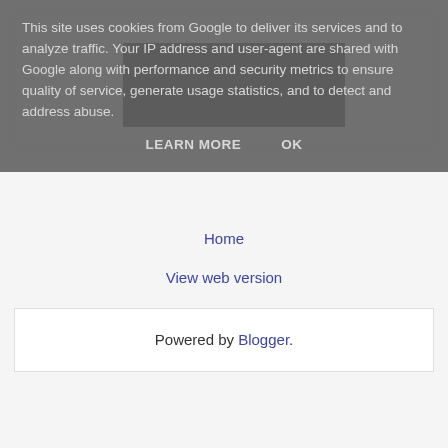This site uses cookies from Google to deliver its services and to analyze traffic. Your IP address and user-agent are shared with Google along with performance and security metrics to ensure quality of service, generate usage statistics, and to detect and address abuse.
LEARN MORE    OK
[Figure (other): Black rectangular image/video area]
Home
View web version
Powered by Blogger.